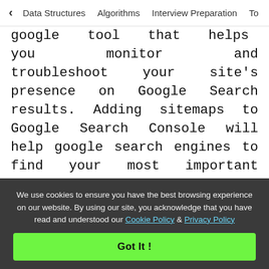< Data Structures   Algorithms   Interview Preparation   To>
google tool that helps you monitor and troubleshoot your site's presence on Google Search results. Adding sitemaps to Google Search Console will help google search engines to find your most important website page, posts, images, videos, pdfs, and it will crawl and index your website content for a better ranking and visibility health. In this article, you will learn about submitting various website sitemap URLs such sitemap.xml, atom.xml, rss.xml in Google Search Console Sitemap.
We use cookies to ensure you have the best browsing experience on our website. By using our site, you acknowledge that you have read and understood our Cookie Policy & Privacy Policy
Got It !